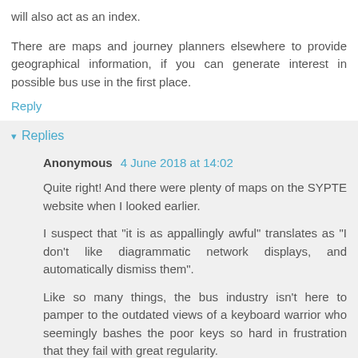will also act as an index.
There are maps and journey planners elsewhere to provide geographical information, if you can generate interest in possible bus use in the first place.
Reply
Replies
Anonymous 4 June 2018 at 14:02
Quite right! And there were plenty of maps on the SYPTE website when I looked earlier.
I suspect that "it is as appallingly awful" translates as "I don't like diagrammatic network displays, and automatically dismiss them".
Like so many things, the bus industry isn't here to pamper to the outdated views of a keyboard warrior who seemingly bashes the poor keys so hard in frustration that they fail with great regularity.